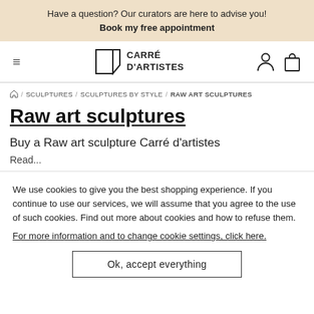Have a question? Our curators are here to advise you! Book my free appointment
[Figure (logo): Carré d'Artistes logo with hamburger menu icon and user/cart icons]
🏠 / SCULPTURES / SCULPTURES BY STYLE / RAW ART SCULPTURES
Raw art sculptures
Buy a Raw art sculpture Carré d'artistes
We use cookies to give you the best shopping experience. If you continue to use our services, we will assume that you agree to the use of such cookies. Find out more about cookies and how to refuse them.
For more information and to change cookie settings, click here.
Ok, accept everything